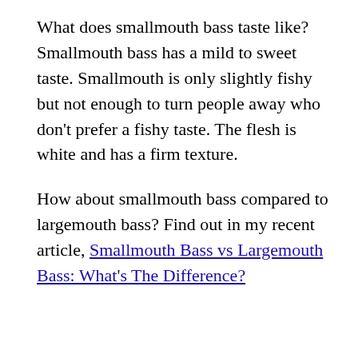What does smallmouth bass taste like? Smallmouth bass has a mild to sweet taste. Smallmouth is only slightly fishy but not enough to turn people away who don't prefer a fishy taste. The flesh is white and has a firm texture.
How about smallmouth bass compared to largemouth bass? Find out in my recent article, Smallmouth Bass vs Largemouth Bass: What's The Difference?